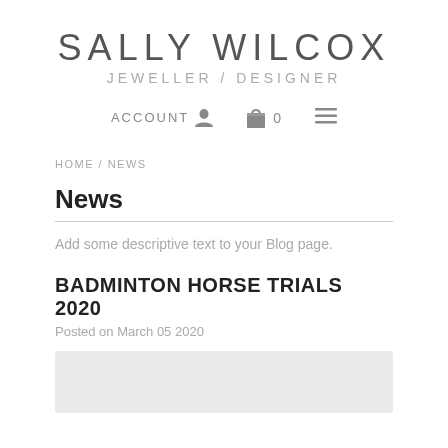SALLY WILCOX JEWELLER / DESIGNER
ACCOUNT  0  ≡
HOME / NEWS
News
Add some descriptive text to your Blog page.
BADMINTON HORSE TRIALS 2020
Posted on March 05 2020
[Figure (photo): Gray placeholder image for blog post]